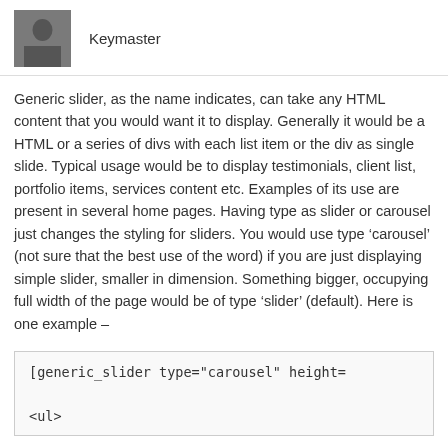[Figure (photo): Avatar photo of a person (dark clothing, indoor background)]
Keymaster
Generic slider, as the name indicates, can take any HTML content that you would want it to display. Generally it would be a HTML or a series of divs with each list item or the div as single slide. Typical usage would be to display testimonials, client list, portfolio items, services content etc. Examples of its use are present in several home pages. Having type as slider or carousel just changes the styling for sliders. You would use type ‘carousel’ (not sure that the best use of the word) if you are just displaying simple slider, smaller in dimension. Something bigger, occupying full width of the page would be of type ‘slider’ (default). Here is one example –
[generic_slider type="carousel" height=…

<ul>